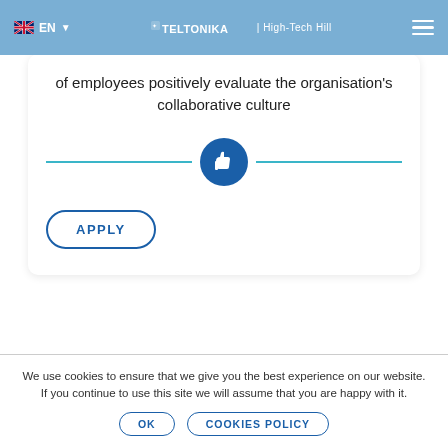EN | Teltonika | High-Tech Hill
96%
of employees positively evaluate the organisation's collaborative culture
[Figure (illustration): Thumbs up icon in a blue circle, flanked by two horizontal teal lines as a divider]
APPLY
We use cookies to ensure that we give you the best experience on our website. If you continue to use this site we will assume that you are happy with it.
OK | COOKIES POLICY